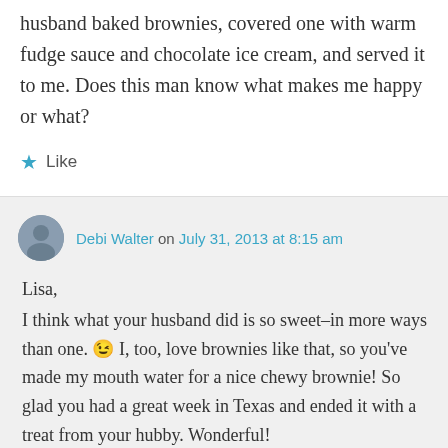husband baked brownies, covered one with warm fudge sauce and chocolate ice cream, and served it to me. Does this man know what makes me happy or what?
★ Like
Debi Walter on July 31, 2013 at 8:15 am
Lisa,
I think what your husband did is so sweet–in more ways than one. 😉 I, too, love brownies like that, so you've made my mouth water for a nice chewy brownie! So glad you had a great week in Texas and ended it with a treat from your hubby. Wonderful!